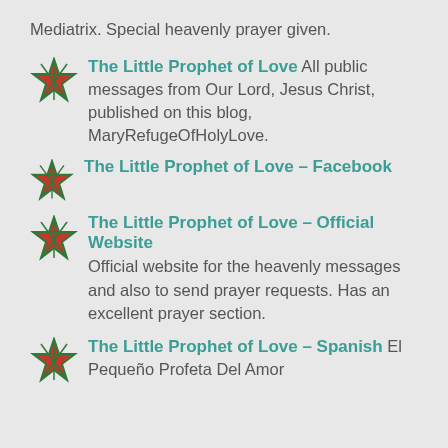Mediatrix. Special heavenly prayer given.
The Little Prophet of Love All public messages from Our Lord, Jesus Christ, published on this blog, MaryRefugeOfHolyLove.
The Little Prophet of Love – Facebook
The Little Prophet of Love – Official Website Official website for the heavenly messages and also to send prayer requests. Has an excellent prayer section.
The Little Prophet of Love – Spanish El Pequeño Profeta Del Amor